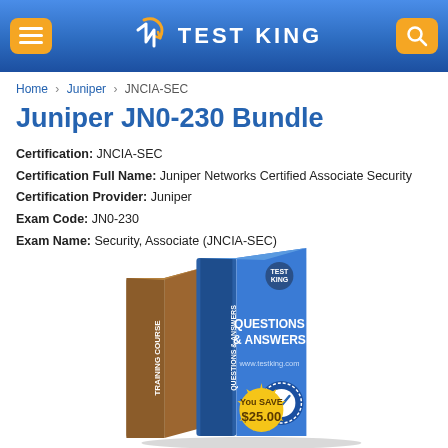TEST KING
Home > Juniper > JNCIA-SEC
Juniper JN0-230 Bundle
Certification: JNCIA-SEC
Certification Full Name: Juniper Networks Certified Associate Security
Certification Provider: Juniper
Exam Code: JN0-230
Exam Name: Security, Associate (JNCIA-SEC)
[Figure (illustration): Product bundle image showing a brown Training Course book spine, a blue Questions & Answers book with Test King logo and www.testking.com URL, and a gold seal badge saying 'You SAVE $25.00']